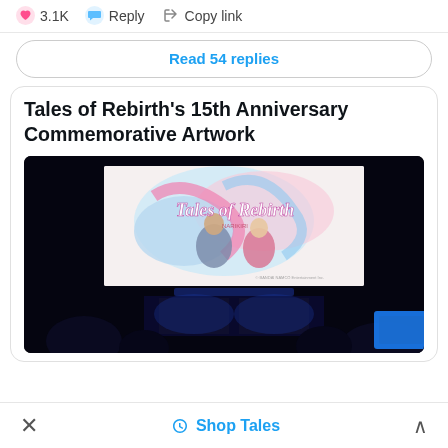3.1K  Reply  Copy link
Read 54 replies
Tales of Rebirth's 15th Anniversary Commemorative Artwork
[Figure (photo): A dark concert/event hall photo showing a large projection screen displaying colorful anime artwork for 'Tales of Rebirth' with characters and the game logo, with silhouettes of audience members visible in the foreground.]
Shop Tales